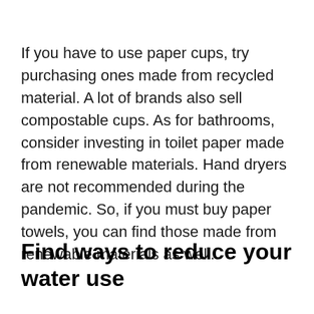If you have to use paper cups, try purchasing ones made from recycled material. A lot of brands also sell compostable cups. As for bathrooms, consider investing in toilet paper made from renewable materials. Hand dryers are not recommended during the pandemic. So, if you must buy paper towels, you can find those made from renewable materials as well.
Find ways to reduce your water use